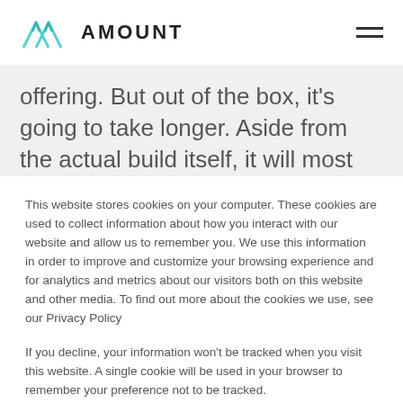AMOUNT
offering. But out of the box, it's going to take longer. Aside from the actual build itself, it will most likely take a year just to weed through the bureaucracy, backlog
This website stores cookies on your computer. These cookies are used to collect information about how you interact with our website and allow us to remember you. We use this information in order to improve and customize your browsing experience and for analytics and metrics about our visitors both on this website and other media. To find out more about the cookies we use, see our Privacy Policy
If you decline, your information won't be tracked when you visit this website. A single cookie will be used in your browser to remember your preference not to be tracked.